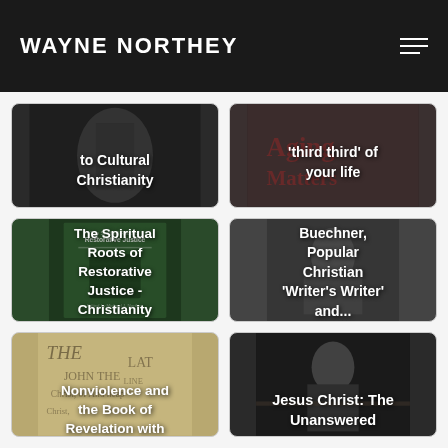WAYNE NORTHEY
[Figure (photo): Card with text overlay: 'to Cultural Christianity' on dark background photo]
[Figure (photo): Card with text overlay: "'third third' of your life" on Aging Matters book cover background]
[Figure (photo): Card with text overlay: 'The Spiritual Roots of Restorative Justice - Christianity' on book cover background]
[Figure (photo): Card with text overlay: "Buechner, Popular Christian 'Writer's Writer' and..." on photo of speaker]
[Figure (photo): Card with text overlay: 'Nonviolence and the Book of Revelation with' on Bible/manuscript background]
[Figure (photo): Card with text overlay: 'Jesus Christ: The Unanswered' on photo of older man at microphone]